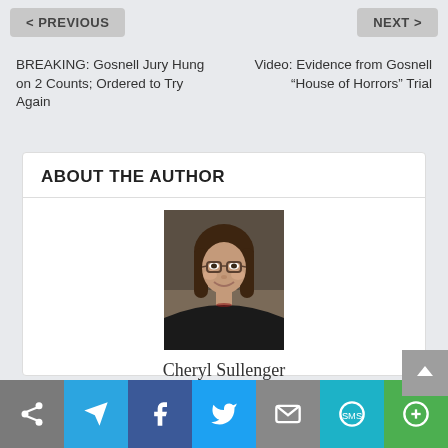< PREVIOUS    NEXT >
BREAKING: Gosnell Jury Hung on 2 Counts; Ordered to Try Again
Video: Evidence from Gosnell “House of Horrors” Trial
ABOUT THE AUTHOR
[Figure (photo): Portrait photo of Cheryl Sullenger, a woman with dark hair and glasses, smiling, wearing dark clothing]
Cheryl Sullenger
Cheryl Sullenger became involved in the pro-life movement in 1984 and began her activism directing a sidewalk counseling ministry in San Diego, California,